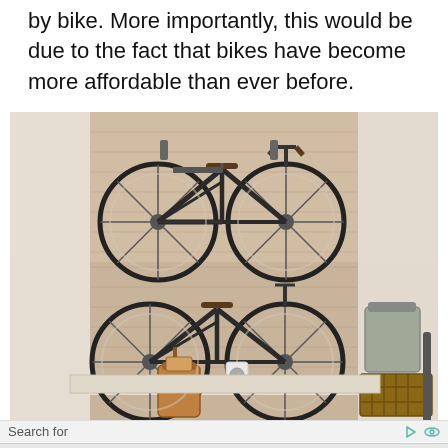by bike. More importantly, this would be due to the fact that bikes have become more affordable than ever before.
[Figure (photo): Two black bicycles mounted on a rustic brick wall in a shop display. The upper bike is raised high on the wall. The lower bike has a tan leather saddlebag hanging from its frame. A basket and other bags are visible on the right side.]
Search for
1.  Basement Storage Ideas